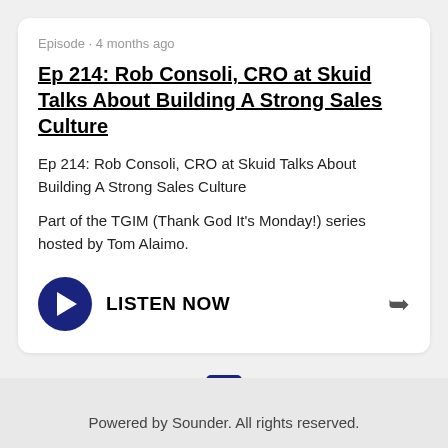Episode · 4 months ago
Ep 214: Rob Consoli, CRO at Skuid Talks About Building A Strong Sales Culture
Ep 214: Rob Consoli, CRO at Skuid Talks About Building A Strong Sales Culture
Part of the TGIM (Thank God It's Monday!) series hosted by Tom Alaimo.
LISTEN NOW
Powered by Sounder. All rights reserved.